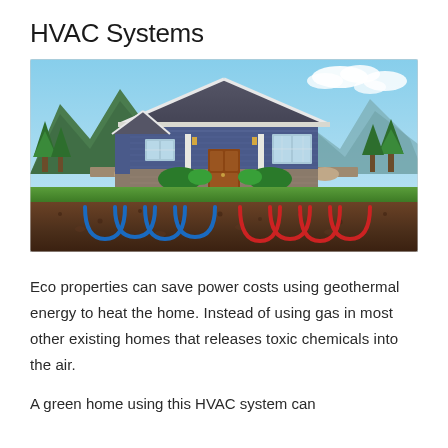HVAC Systems
[Figure (photo): Photo of a blue craftsman-style house with mountains in background, composite image showing underground geothermal pipes (blue and red loops) beneath the house foundation in soil cross-section]
Eco properties can save power costs using geothermal energy to heat the home. Instead of using gas in most other existing homes that releases toxic chemicals into the air.
A green home using this HVAC system can